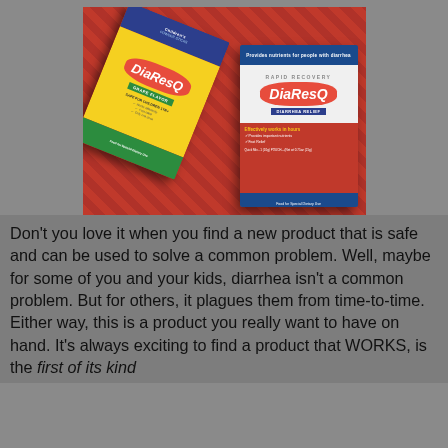[Figure (photo): Two boxes of DiaResQ product on a red patterned background. Left box is Children's DiaResQ in yellow/blue/green packaging. Right box is DiaResQ Diarrhea Relief in red/white/blue adult packaging.]
Don't you love it when you find a new product that is safe and can be used to solve a common problem. Well, maybe for some of you and your kids, diarrhea isn't a common problem. But for others, it plagues them from time-to-time. Either way, this is a product you really want to have on hand. It's always exciting to find a product that WORKS, is the first of its kind AND fits your lifestyle and lifestyle...